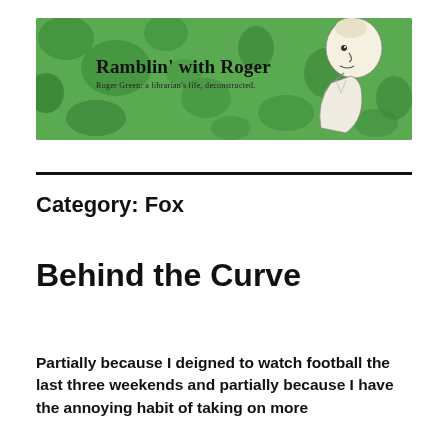[Figure (illustration): Blog header banner with green mottled background, cartoon character of a man thinking on the right side, blog title 'Ramblin' with Roger' in bold serif font, subtitle 'Roger Green: a librarian's life, deconstructed.']
Category: Fox
Behind the Curve
Partially because I deigned to watch football the last three weekends and partially because I have the annoying habit of taking on more